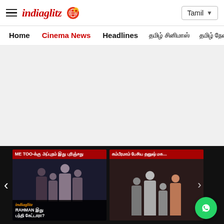indiaglitz | Tamil
Home  Cinema News  Headlines  [Tamil nav items]
[Figure (other): Advertisement / blank ad placeholder area]
[Figure (other): Video thumbnail card 1: ME TOO-க்கு அப்புறம் இது புரிஞ்சது - indiaglitz - RAHMAN இது பந்தி கேட்டாரா?]
[Figure (other): Video thumbnail card 2: கம்பீரமாம் பேசிய தனுஷ் மக... with people in background]